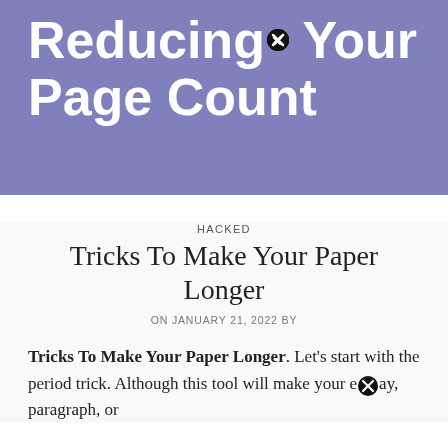Reducing Your Page Count
HACKED
Tricks To Make Your Paper Longer
ON JANUARY 21, 2022 BY
Tricks To Make Your Paper Longer. Let's start with the period trick. Although this tool will make your essay, paragraph, or